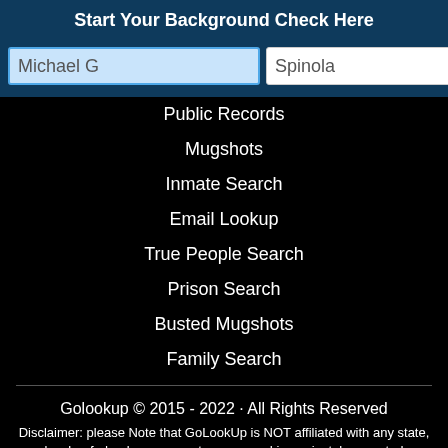Start Your Background Check Here
[Figure (screenshot): Search form with first name field 'Michael G', last name field 'Spinola', and a green search button]
Public Records
Mugshots
Inmate Search
Email Lookup
True People Search
Prison Search
Busted Mugshots
Family Search
Golookup © 2015 - 2022 · All Rights Reserved
Disclaimer: please Note that GoLookUp is NOT affiliated with any state, local or federal government agency and is a privately operated enterprise.